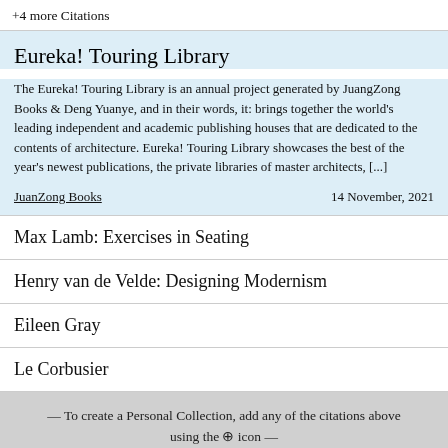+4 more Citations
Eureka! Touring Library
The Eureka! Touring Library is an annual project generated by JuangZong Books & Deng Yuanye, and in their words, it: brings together the world's leading independent and academic publishing houses that are dedicated to the contents of architecture. Eureka! Touring Library showcases the best of the year's newest publications, the private libraries of master architects, [...]
JuanZong Books    14 November, 2021
Max Lamb: Exercises in Seating
Henry van de Velde: Designing Modernism
Eileen Gray
Le Corbusier
— To create a Personal Collection, add any of the citations above using the ⊕ icon —